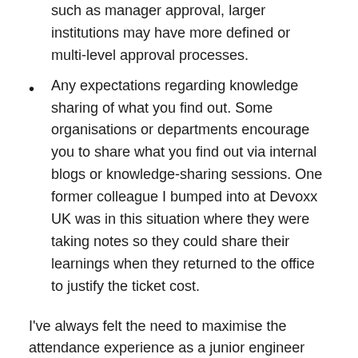such as manager approval, larger institutions may have more defined or multi-level approval processes.
Any expectations regarding knowledge sharing of what you find out. Some organisations or departments encourage you to share what you find out via internal blogs or knowledge-sharing sessions. One former colleague I bumped into at Devoxx UK was in this situation where they were taking notes so they could share their learnings when they returned to the office to justify the ticket cost.
I've always felt the need to maximise the attendance experience as a junior engineer when I've committed to sharing my experience internally when I come back to work. It's understandable to think of this as actual work